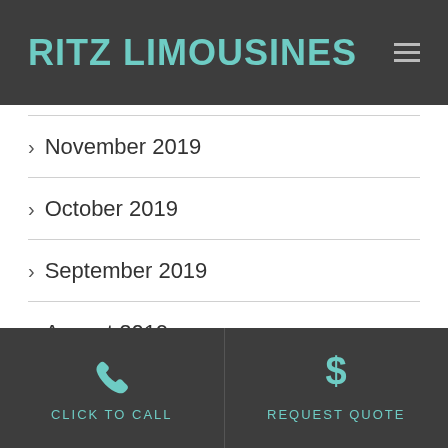RITZ LIMOUSINES
November 2019
October 2019
September 2019
August 2019
March 2019
CLICK TO CALL | REQUEST QUOTE